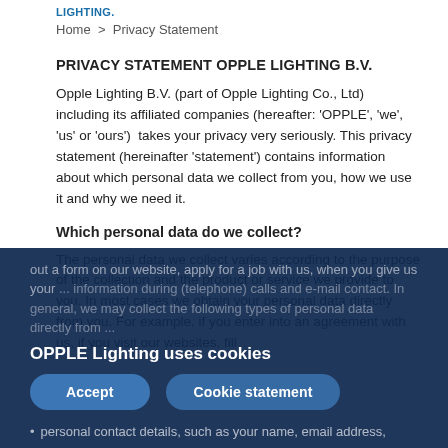LIGHTING.
Home  >  Privacy Statement
PRIVACY STATEMENT OPPLE LIGHTING B.V.
Opple Lighting B.V. (part of Opple Lighting Co., Ltd) including its affiliated companies (hereafter: 'OPPLE', 'we', 'us' or 'ours')  takes your privacy very seriously. This privacy statement (hereinafter 'statement') contains information about which personal data we collect from you, how we use it and why we need it.
Which personal data do we collect?
The personal data we collect varies according to the purpose of the collection and the product or service we provide to you. In most cases we obtain your personal data directly from you. For example, if you enter into an agreement with us, if you visit our websites, fill out a form on our website, apply for a job with us, when you give us your ... information during (telephone) calls and e-mail contact. In general, we may collect the following types of personal data directly from ...
personal contact details, such as your name, email address,